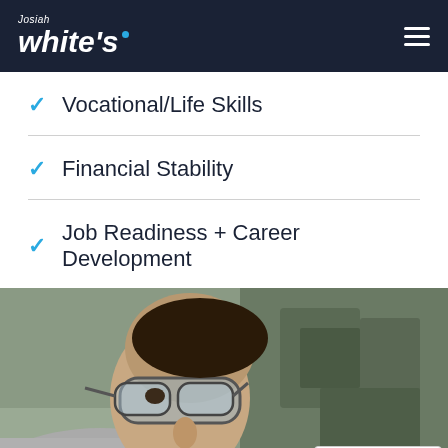Josiah White's
Vocational/Life Skills
Financial Stability
Job Readiness + Career Development
[Figure (photo): A young man wearing safety glasses working closely on a machine or tool in a workshop setting with green industrial machinery in the background.]
English